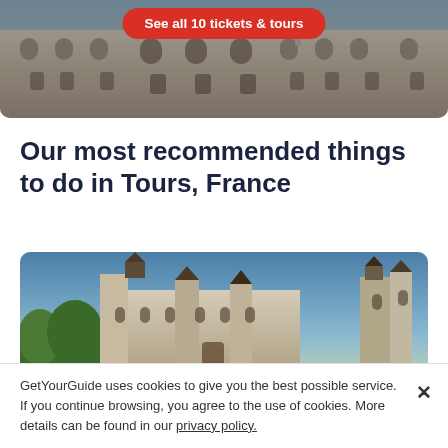[Figure (photo): Photo of a grand French building facade with flags, with a red rounded button overlay reading 'See all 10 tickets & tours']
Our most recommended things to do in Tours, France
[Figure (photo): Photo of a French Loire Valley château at sunset with blue sky and dramatic towers]
GetYourGuide uses cookies to give you the best possible service. If you continue browsing, you agree to the use of cookies. More details can be found in our privacy policy.